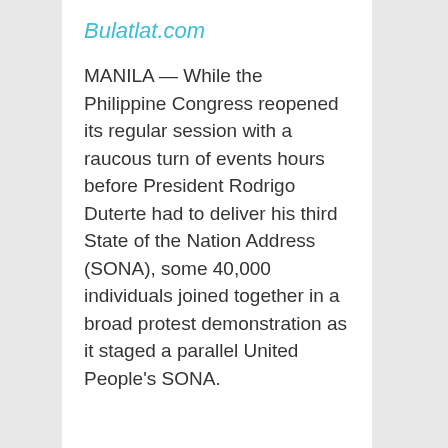Bulatlat.com
MANILA — While the Philippine Congress reopened its regular session with a raucous turn of events hours before President Rodrigo Duterte had to deliver his third State of the Nation Address (SONA), some 40,000 individuals joined together in a broad protest demonstration as it staged a parallel United People's SONA.